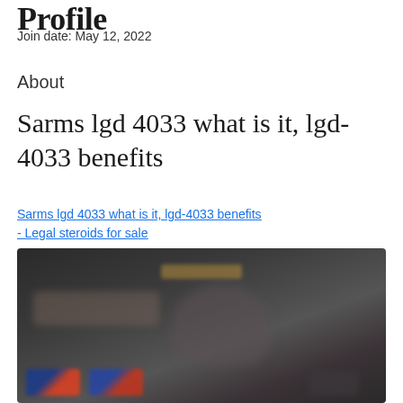Profile
Join date: May 12, 2022
About
Sarms lgd 4033 what is it, lgd-4033 benefits
Sarms lgd 4033 what is it, lgd-4033 benefits - Legal steroids for sale
[Figure (photo): Blurred/obscured product image with dark background, showing indistinct figures and supplement product boxes at the bottom]